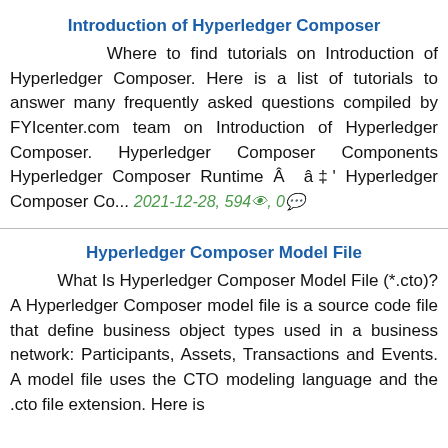Introduction of Hyperledger Composer
Where to find tutorials on Introduction of Hyperledger Composer. Here is a list of tutorials to answer many frequently asked questions compiled by FYIcenter.com team on Introduction of Hyperledger Composer. Hyperledger Composer Components Hyperledger Composer Runtime Â  â‡' Hyperledger Composer Co... 2021-12-28, 594👁, 0💬
Hyperledger Composer Model File
What Is Hyperledger Composer Model File (*.cto)? A Hyperledger Composer model file is a source code file that define business object types used in a business network: Participants, Assets, Transactions and Events. A model file uses the CTO modeling language and the .cto file extension. Here is